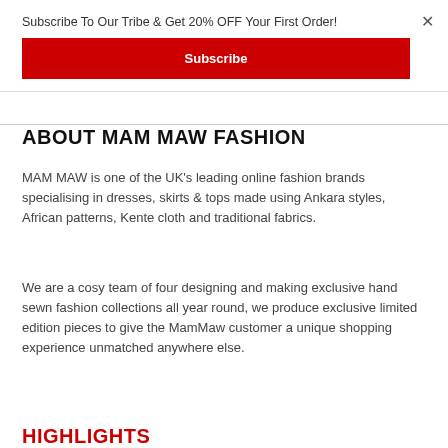Subscribe To Our Tribe & Get 20% OFF Your First Order!
Subscribe
ABOUT MAM MAW FASHION
MAM MAW is one of the UK's leading online fashion brands specialising in dresses, skirts & tops made using Ankara styles, African patterns, Kente cloth and traditional fabrics.
We are a cosy team of four designing and making exclusive hand sewn fashion collections all year round, we produce exclusive limited edition pieces to give the MamMaw customer a unique shopping experience unmatched anywhere else.